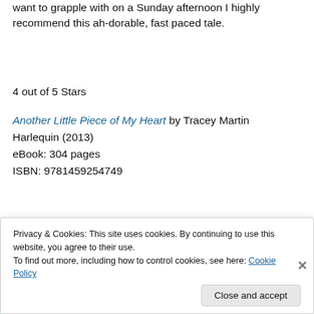want to grapple with on a Sunday afternoon I highly recommend this ah-dorable, fast paced tale.
4 out of 5 Stars
Another Little Piece of My Heart by Tracey Martin
Harlequin (2013)
eBook: 304 pages
ISBN: 9781459254749
[Figure (other): Advertisement banner with text 'and a better world.' and an Apply button, plus a circular photo of a man thinking]
Privacy & Cookies: This site uses cookies. By continuing to use this website, you agree to their use.
To find out more, including how to control cookies, see here: Cookie Policy
Close and accept